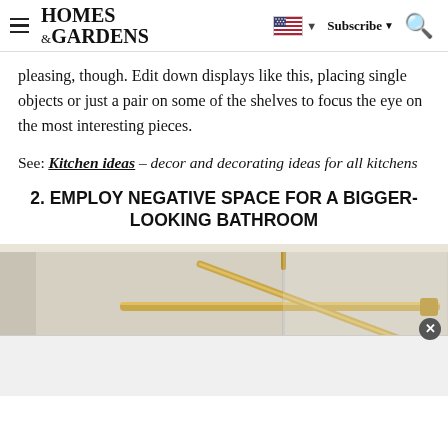HOMES & GARDENS — Subscribe
pleasing, though. Edit down displays like this, placing single objects or just a pair on some of the shelves to focus the eye on the most interesting pieces.
See: Kitchen ideas – decor and decorating ideas for all kitchens
2. EMPLOY NEGATIVE SPACE FOR A BIGGER-LOOKING BATHROOM
[Figure (photo): Partial view of a bathroom with gold/brass towel rail or bar hardware and glass panel, light beige walls. An ad banner overlay appears at the bottom with a close button.]